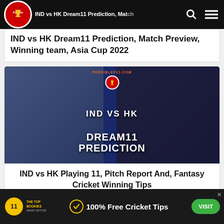Possible11 — IND vs HK Dream11 Prediction, Match Preview, Winning team, Asia Cup 2022
IND vs HK Dream11 Prediction, Match Preview, Winning team, Asia Cup 2022
[Figure (photo): IND vs HK Dream11 Prediction promotional image showing Indian cricketer in blue BYJU'S INDIA jersey on the left and two Hong Kong players in red on the right, with 'IND VS HK DREAM11 PREDICTION' text overlay on a dark blue background, with Possible11 logo and possiblef11.com URL.]
IND vs HK Playing 11, Pitch Report And, Fantasy Cricket Winning Tips
THETOPBOOKIES — 100% Free Cricket Tips — VISIT